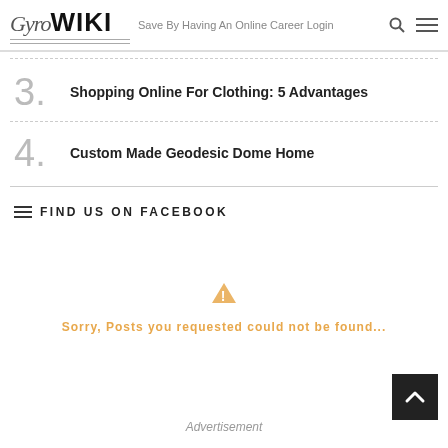GyroWIKI — Save By Having An Online Career Login
3. Shopping Online For Clothing: 5 Advantages
4. Custom Made Geodesic Dome Home
FIND US ON FACEBOOK
Sorry, Posts you requested could not be found...
Advertisement